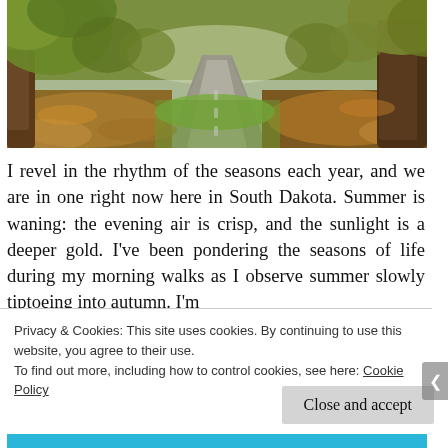[Figure (photo): Autumn road scene with trees lining a curved path, fallen leaves on the ground, green grass, and golden light filtering through the canopy.]
I revel in the rhythm of the seasons each year, and we are in one right now here in South Dakota. Summer is waning: the evening air is crisp, and the sunlight is a deeper gold. I've been pondering the seasons of life during my morning walks as I observe summer slowly tiptoeing into autumn. I'm
Privacy & Cookies: This site uses cookies. By continuing to use this website, you agree to their use.
To find out more, including how to control cookies, see here: Cookie Policy
Close and accept